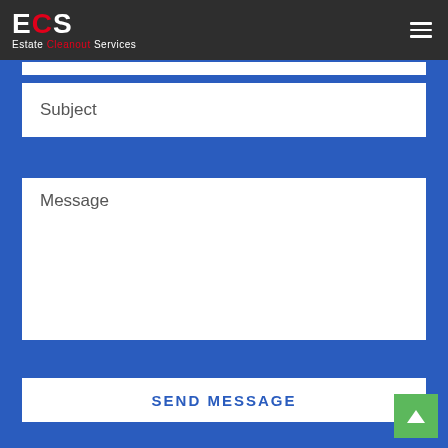ECS Estate Cleanout Services
Subject
Message
SEND MESSAGE